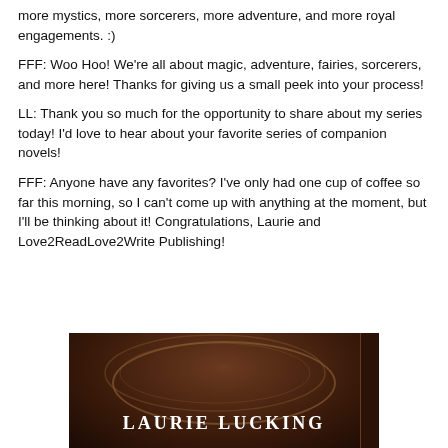more mystics, more sorcerers, more adventure, and more royal engagements. :)
FFF: Woo Hoo! We're all about magic, adventure, fairies, sorcerers, and more here! Thanks for giving us a small peek into your process!
LL: Thank you so much for the opportunity to share about my series today! I'd love to hear about your favorite series of companion novels!
FFF: Anyone have any favorites? I've only had one cup of coffee so far this morning, so I can't come up with anything at the moment, but I'll be thinking about it! Congratulations, Laurie and Love2ReadLove2Write Publishing!
[Figure (photo): Book cover showing author name LAURIE LUCKING in white serif text on a dark brown background with a circular arc design element and a dark side bar on the right.]